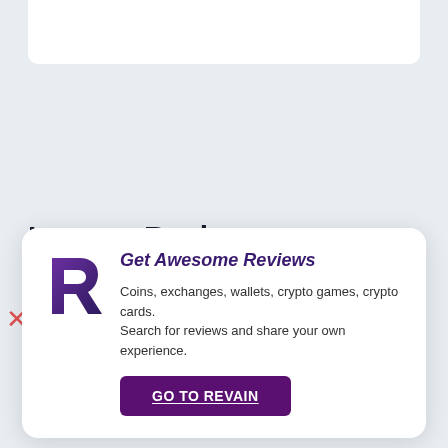Leave a Reply
You must be logged in to post a comment.
[Figure (logo): Revain logo — stylized R in purple/dark colors]
Get Awesome Reviews
Coins, exchanges, wallets, crypto games, crypto cards. Search for reviews and share your own experience.
GO TO REVAIN